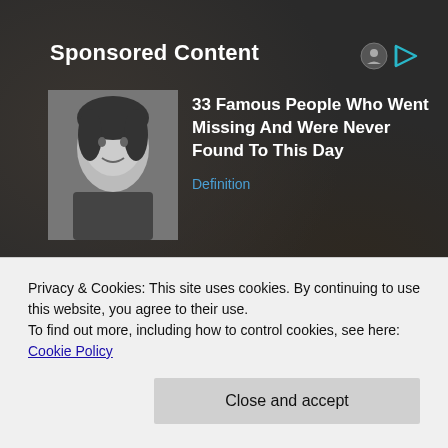Sponsored Content
[Figure (photo): Black and white photo of a person with dark hair, smiling]
33 Famous People Who Went Missing And Were Never Found To This Day
Definition
[Figure (photo): Color photo of a person with long brown hair seen from behind]
Hepatitis C - Common Signs & Symptoms (Take a Look)
Privacy & Cookies: This site uses cookies. By continuing to use this website, you agree to their use.
To find out more, including how to control cookies, see here: Cookie Policy
Close and accept